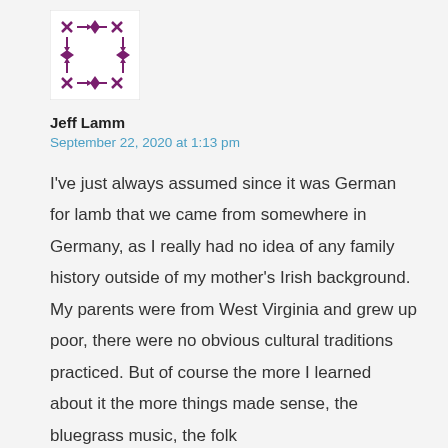[Figure (illustration): A square avatar image made up of a decorative pattern of purple/magenta X and diamond shapes arranged in a grid pattern on a white background]
Jeff Lamm
September 22, 2020 at 1:13 pm
I've just always assumed since it was German for lamb that we came from somewhere in Germany, as I really had no idea of any family history outside of my mother's Irish background. My parents were from West Virginia and grew up poor, there were no obvious cultural traditions practiced. But of course the more I learned about it the more things made sense, the bluegrass music, the folk